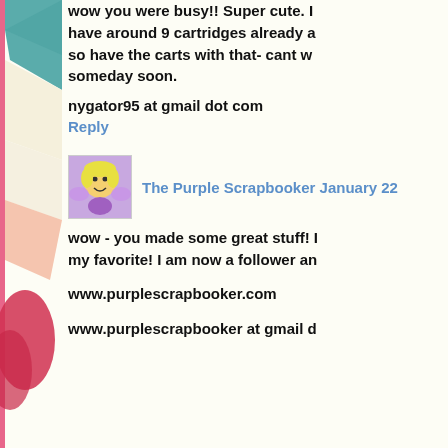wow you were busy!! Super cute. I have around 9 cartridges already a so have the carts with that- cant w someday soon.
nygator95 at gmail dot com
Reply
The Purple Scrapbooker January 22
wow - you made some great stuff! my favorite! I am now a follower an
www.purplescrapbooker.com
www.purplescrapbooker at gmail d